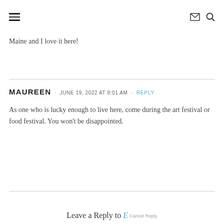≡  ✉ 🔍
Maine and I love it here!
MAUREEN · JUNE 19, 2022 AT 8:01 AM · REPLY
As one who is lucky enough to live here, come during the art festival or food festival. You won't be disappointed.
Leave a Reply to E Cancel Reply